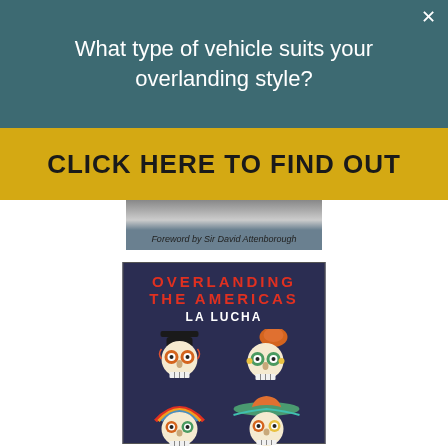What type of vehicle suits your overlanding style?
CLICK HERE TO FIND OUT
[Figure (photo): Partial view of a book cover showing 'Foreword by Sir David Attenborough' text over a dark image]
[Figure (photo): Book cover for 'Overlanding the Americas: La Lucha' by Graeme Bell, featuring four Day of the Dead sugar skull illustrations on a dark navy background]